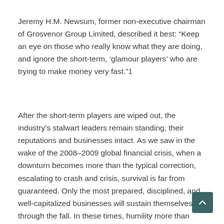Jeremy H.M. Newsum, former non-executive chairman of Grosvenor Group Limited, described it best: “Keep an eye on those who really know what they are doing, and ignore the short-term, ‘glamour players’ who are trying to make money very fast.”1
After the short-term players are wiped out, the industry’s stalwart leaders remain standing, their reputations and businesses intact. As we saw in the wake of the 2008–2009 global financial crisis, when a downturn becomes more than the typical correction, escalating to crash and crisis, survival is far from guaranteed. Only the most prepared, disciplined, and well-capitalized businesses will sustain themselves through the fall. In these times, humility more than hubris dictates survival.